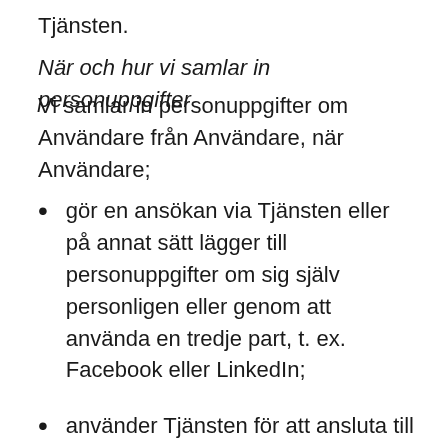Tjänsten.
När och hur vi samlar in personuppgifter
Vi samlar in personuppgifter om Användare från Användare, när Användare;
gör en ansökan via Tjänsten eller på annat sätt lägger till personuppgifter om sig själv personligen eller genom att använda en tredje part, t. ex. Facebook eller LinkedIn;
använder Tjänsten för att ansluta till